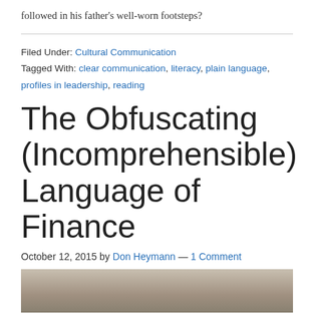followed in his father's well-worn footsteps?
Filed Under: Cultural Communication
Tagged With: clear communication, literacy, plain language, profiles in leadership, reading
The Obfuscating (Incomprehensible) Language of Finance
October 12, 2015 by Don Heymann — 1 Comment
[Figure (photo): Street-level urban photo showing buildings and a street lamp, partially visible at the bottom of the page.]